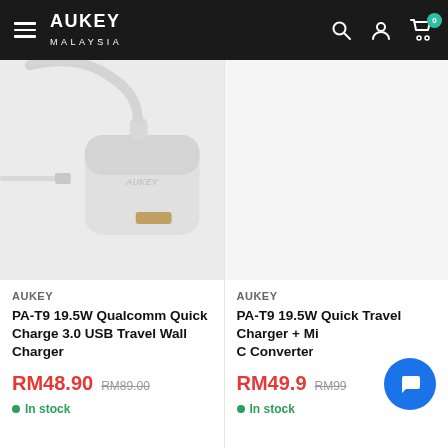AUKEY MALAYSIA
[Figure (photo): White USB wall charger with attached Lightning cable, AUKEY branding visible on the charger body]
AUKEY
PA-T9 19.5W Qualcomm Quick Charge 3.0 USB Travel Wall Charger
RM48.90  RM89.00
In stock
[Figure (photo): Partially visible second product image (cropped on right side)]
AUKEY
PA-T9 19.5W Quick Travel Charger + Mi C Converter
RM49.9  RM99
In stock